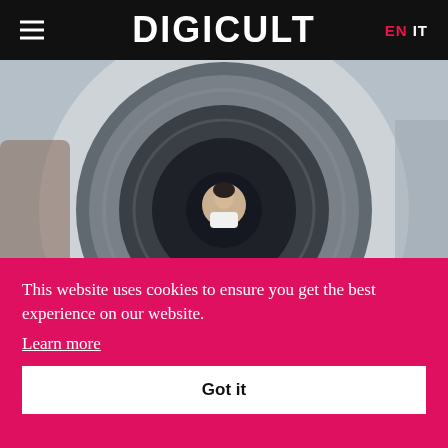DIGICULT — EN IT
[Figure (photo): Artwork photo featuring a large circular target/eye-like installation with concentric rings in grey and dark tones, with a person (woman with dark hair) visible in the center circle. The image appears to show an art installation by Maurice Benayoun.]
Maurice Be...
This website uses cookies to ensure you get the best experience on our website. Learn more
Got it
Maurice Benayoun AKA MoBen, is a pioneer of Open Media Art and a Golden Nica awardee from